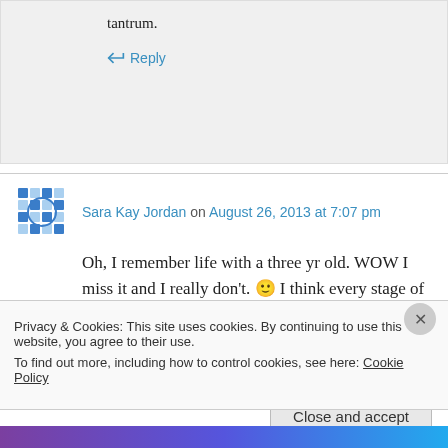tantrum.
↳ Reply
Sara Kay Jordan on August 26, 2013 at 7:07 pm
Oh, I remember life with a three yr old. WOW I miss it and I really don't. 🙂 I think every stage of
Privacy & Cookies: This site uses cookies. By continuing to use this website, you agree to their use.
To find out more, including how to control cookies, see here: Cookie Policy
Close and accept